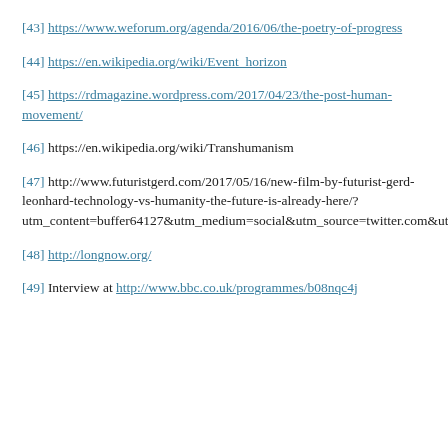[43] https://www.weforum.org/agenda/2016/06/the-poetry-of-progress
[44] https://en.wikipedia.org/wiki/Event_horizon
[45] https://rdmagazine.wordpress.com/2017/04/23/the-post-human-movement/
[46] https://en.wikipedia.org/wiki/Transhumanism
[47] http://www.futuristgerd.com/2017/05/16/new-film-by-futurist-gerd-leonhard-technology-vs-humanity-the-future-is-already-here/?utm_content=buffer64127&utm_medium=social&utm_source=twitter.com&utm_campaign=buffer
[48] http://longnow.org/
[49] Interview at http://www.bbc.co.uk/programmes/b08nqc4j